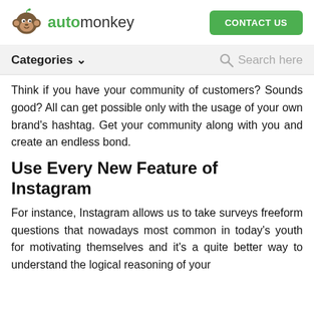automonkey | CONTACT US
Categories ∨  Search here
Think if you have your community of customers? Sounds good? All can get possible only with the usage of your own brand's hashtag. Get your community along with you and create an endless bond.
Use Every New Feature of Instagram
For instance, Instagram allows us to take surveys freeform questions that nowadays most common in today's youth for motivating themselves and it's a quite better way to understand the logical reasoning of your